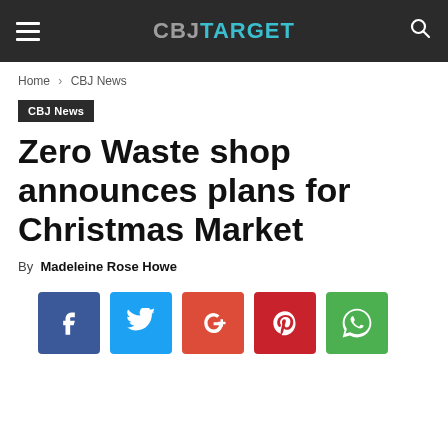CBJ TARGET
Home › CBJ News
CBJ News
Zero Waste shop announces plans for Christmas Market
By Madeleine Rose Howe
[Figure (infographic): Social sharing buttons: Facebook, Twitter, Google+, Pinterest, WhatsApp]